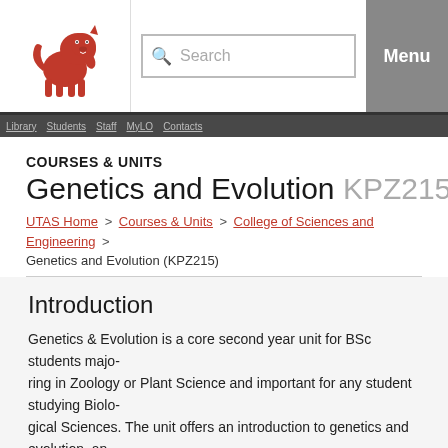[Figure (logo): University red lion logo top left]
Search | Menu
COURSES & UNITS
Genetics and Evolution KPZ215
UTAS Home > Courses & Units > College of Sciences and Engineering > Genetics and Evolution (KPZ215)
Introduction
Genetics & Evolution is a core second year unit for BSc students majoring in Zoology or Plant Science and important for any student studying Biological Sciences. The unit offers an introduction to genetics and evolution, and uses classical and molecular approaches to understand genetic control, genetic manipulation, and evolutionary processes. The unit reviews classical genetics, develops the themes of linkage, recombination, cytogenetics, and quantitative genetics. We then discuss molecular genetics; including DNA structure, regulation of gene expression, tools to analyze genetic variation, and the principles